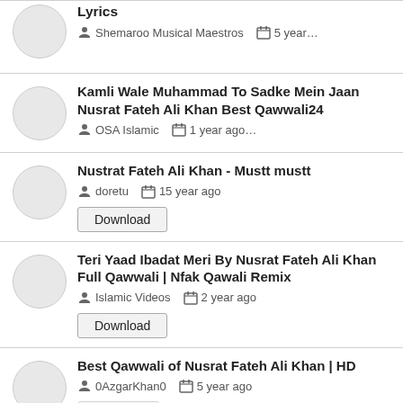Nusrat Fateh Ali Khan - Full Song With Lyrics | Shemaroo Musical Maestros | 5 year...
Kamli Wale Muhammad To Sadke Mein Jaan Nusrat Fateh Ali Khan Best Qawwali24 | OSA Islamic | 1 year ago...
Nustrat Fateh Ali Khan - Mustt mustt | doretu | 15 year ago | Download
Teri Yaad Ibadat Meri By Nusrat Fateh Ali Khan Full Qawwali | Nfak Qawali Remix | Islamic Videos | 2 year ago | Download
Best Qawwali of Nusrat Fateh Ali Khan | HD | 0AzgarKhan0 | 5 year ago | Download